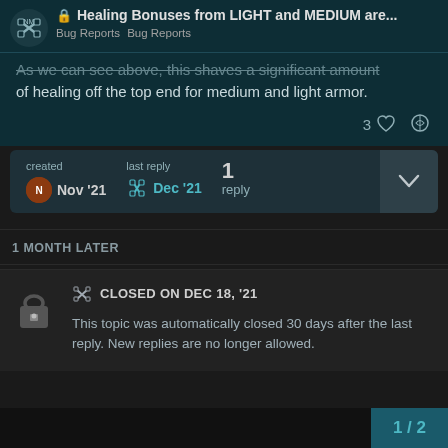Healing Bonuses from LIGHT and MEDIUM are... | Bug Reports Bug Reports
As we can see above, this shaves a significant amount of healing off the top end for medium and light armor.
3 ♡ 🔗
| created | last reply |  |
| --- | --- | --- |
| Nov '21 | Dec '21 | 1 reply |
1 MONTH LATER
CLOSED ON DEC 18, '21
This topic was automatically closed 30 days after the last reply. New replies are no longer allowed.
1 / 2